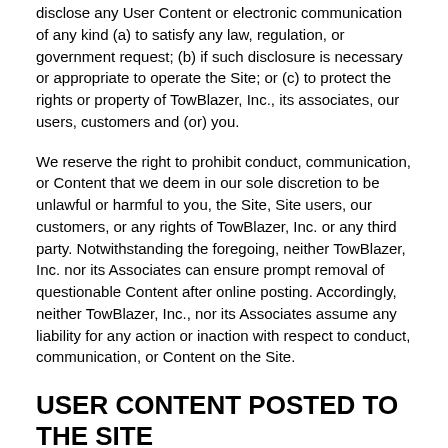disclose any User Content or electronic communication of any kind (a) to satisfy any law, regulation, or government request; (b) if such disclosure is necessary or appropriate to operate the Site; or (c) to protect the rights or property of TowBlazer, Inc., its associates, our users, customers and (or) you.
We reserve the right to prohibit conduct, communication, or Content that we deem in our sole discretion to be unlawful or harmful to you, the Site, Site users, our customers, or any rights of TowBlazer, Inc. or any third party. Notwithstanding the foregoing, neither TowBlazer, Inc. nor its Associates can ensure prompt removal of questionable Content after online posting. Accordingly, neither TowBlazer, Inc., nor its Associates assume any liability for any action or inaction with respect to conduct, communication, or Content on the Site.
USER CONTENT POSTED TO THE SITE
For any information, data, software, photographs, graphs, videos, typefaces, graphics, music, sounds, and other material (collectively "User Content"), sent, transmitted, or uploaded by you on the Site, you agree to grant (a) us and our respective contractors and business partners a non-exclusive, transferable, sub-licensable, royalty-free, fully paid up, worldwide license in perpetuity to use, copy, publicly perform, digitally perform, publicly display, and distribute such User Content and to prepare derivative works based on, or